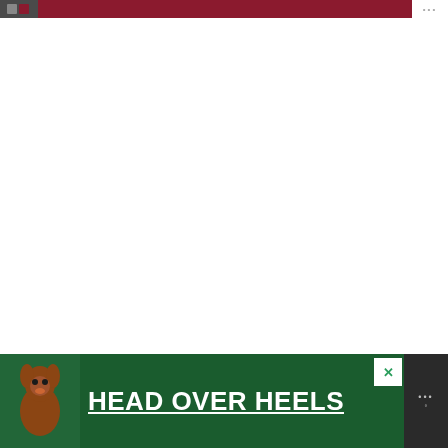[Figure (photo): Top navigation bar with dark left icon area, crimson/dark red center bar, and dots icon on right. Appears to be a website header/toolbar.]
[Figure (photo): Large white blank area representing a photo of a female Red-winged blackbird (photo content not visible in cropped view).]
Close up portrait of a female Red-winged blackbird
[Figure (photo): Advertisement banner with dark green background showing a dog illustration on the left and text 'HEAD OVER HEELS' in large bold white underlined letters. Has an X close button and logo dots on the right.]